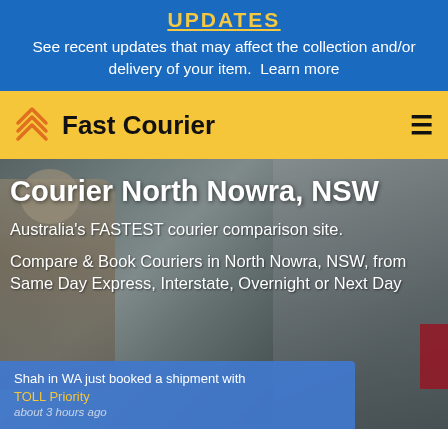UPDATES
See recent updates that may affect the collection and/or delivery of your item.  Learn more
Fast Courier
[Figure (screenshot): Fast Courier website hero section showing a courier/delivery worker near a vehicle with overlaid text about booking couriers in North Nowra, NSW. Also shows a toast notification for a recent shipment booking with TOLL Priority.]
Courier North Nowra, NSW
Australia's FASTEST courier comparison site.
Compare & Book Couriers in North Nowra, NSW, from Same Day Express, Interstate, Overnight or Next Day
Shah in WA just booked a shipment with TOLL Priority about 3 hours ago